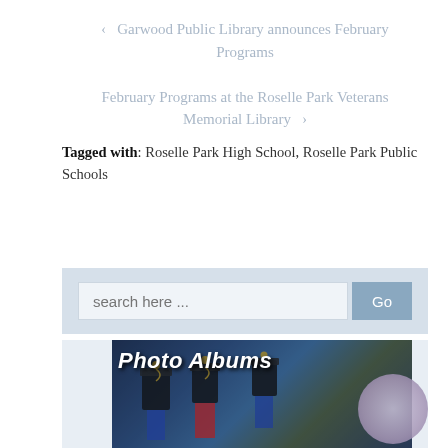‹ Garwood Public Library announces February Programs
February Programs at the Roselle Park Veterans Memorial Library ›
Tagged with: Roselle Park High School, Roselle Park Public Schools
search here ...
[Figure (photo): Photo Albums banner image showing marching band members in uniform with tall black hats and colorful uniforms, with 'Photo Albums' text overlay in bold italic white font]